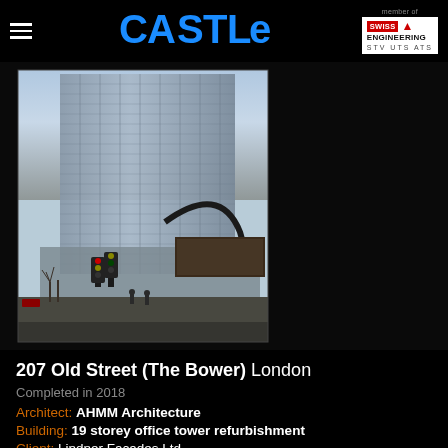CASTLE — member of SWISS ENGINEERING STV UTS ATS
[Figure (photo): Photograph of 207 Old Street (The Bower), a glass-facade office tower in London, with street-level view showing trees and traffic lights in the foreground]
207 Old Street (The Bower) London
Completed in 2018
Architect: AHMM Architecture
Building: 19 storey office tower refurbishment
Client: Lindner Facades Ltd